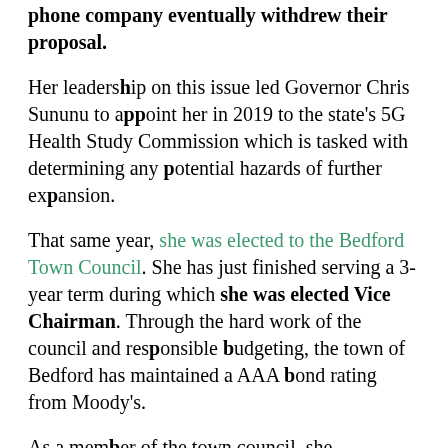phone company eventually withdrew their proposal.
Her leadership on this issue led Governor Chris Sununu to appoint her in 2019 to the state's 5G Health Study Commission which is tasked with determining any potential hazards of further expansion.
That same year, she was elected to the Bedford Town Council. She has just finished serving a 3-year term during which she was elected Vice Chairman. Through the hard work of the council and responsible budgeting, the town of Bedford has maintained a AAA bond rating from Moody's.
As a member of the town council, she...